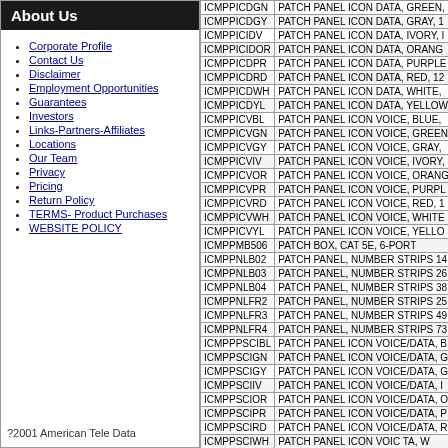About Us
Corporate Profile
Contact Us
Disclaimer
Employment Opportunities
Guarantees
Investors
Links-Partners-Affiliates
Locations
Our Team
Privacy
Pricing
Return Policy
TERMS- Product Purchases
WEBSITE POLICY
?2001 American Tele Data
| Code | Description |
| --- | --- |
| ICMPPICDGN | PATCH PANEL ICON DATA, GREEN, |
| ICMPPICDGY | PATCH PANEL ICON DATA, GRAY, 1 |
| ICMPPICIDV | PATCH PANEL ICON DATA, IVORY, I |
| ICMPPICIDOR | PATCH PANEL ICON DATA, ORANG |
| ICMPPICDPR | PATCH PANEL ICON DATA, PURPLE |
| ICMPPICDRD | PATCH PANEL ICON DATA, RED, 12 |
| ICMPPICDWH | PATCH PANEL ICON DATA, WHITE, |
| ICMPPICDYL | PATCH PANEL ICON DATA, YELLOW |
| ICMPPICVBL | PATCH PANEL ICON VOICE, BLUE, |
| ICMPPICVGN | PATCH PANEL ICON VOICE, GREEN |
| ICMPPICVGY | PATCH PANEL ICON VOICE, GRAY, |
| ICMPPICVIV | PATCH PANEL ICON VOICE, IVORY, |
| ICMPPICVOR | PATCH PANEL ICON VOICE, ORANG |
| ICMPPICVPR | PATCH PANEL ICON VOICE, PURPL |
| ICMPPICVRD | PATCH PANEL ICON VOICE, RED, 1 |
| ICMPPICVWH | PATCH PANEL ICON VOICE, WHITE |
| ICMPPICVYL | PATCH PANEL ICON VOICE, YELLO |
| ICMPPMB506 | PATCH BOX, CAT 5E, 6-PORT |
| ICMPPNLB02 | PATCH PANEL, NUMBER STRIPS 14 |
| ICMPPNLB03 | PATCH PANEL, NUMBER STRIPS 26 |
| ICMPPNLB04 | PATCH PANEL, NUMBER STRIPS 38 |
| ICMPPNLFR2 | PATCH PANEL, NUMBER STRIPS 25 |
| ICMPPNLFR3 | PATCH PANEL, NUMBER STRIPS 49 |
| ICMPPNLFR4 | PATCH PANEL, NUMBER STRIPS 73 |
| ICMPPPSCIBL | PATCH PANEL ICON VOICE/DATA, B |
| ICMPPSCIGN | PATCH PANEL ICON VOICE/DATA, G |
| ICMPPSCIGY | PATCH PANEL ICON VOICE/DATA, G |
| ICMPPSCIIV | PATCH PANEL ICON VOICE/DATA, I |
| ICMPPSCIOR | PATCH PANEL ICON VOICE/DATA, O |
| ICMPPSCIPR | PATCH PANEL ICON VOICE/DATA, P |
| ICMPPSCIRD | PATCH PANEL ICON VOICE/DATA, R |
| ICMPPSCIWH | PATCH PANEL ICON VOIC TA, W |
| ICMPPSCIYL | PATCH PANEL ICON VOIC A, Y |